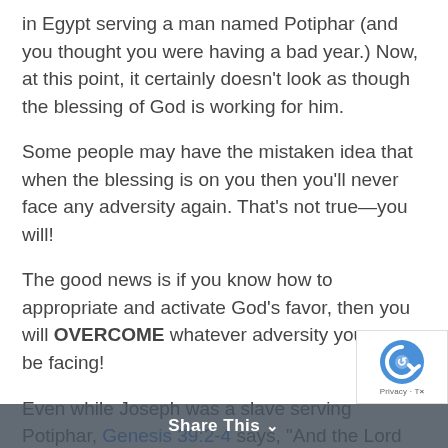in Egypt serving a man named Potiphar (and you thought you were having a bad year.) Now, at this point, it certainly doesn't look as though the blessing of God is working for him.
Some people may have the mistaken idea that when the blessing is on you then you'll never face any adversity again. That's not true—you will!
The good news is if you know how to appropriate and activate God's favor, then you will OVERCOME whatever adversity you may be facing!
Even while Joseph was a slave serving Potiphar, Genesis 39:2-4 says, "And the Lord was with Joseph...and he was a prosperous man." In the
Share This